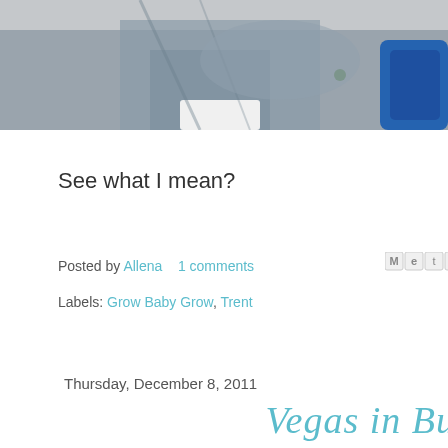[Figure (photo): Partial view of a person in grey clothing with a blue object, cropped at top of page]
See what I mean?
Posted by Allena   1 comments
Labels: Grow Baby Grow, Trent
Thursday, December 8, 2011
Vegas in Bu